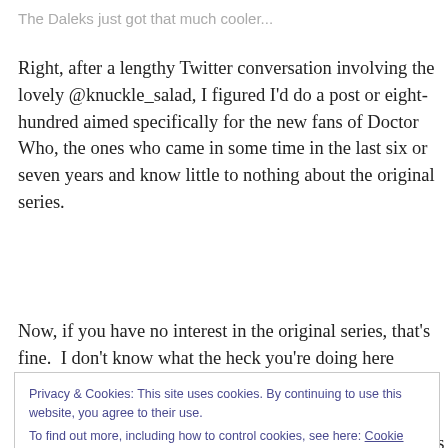The Daleks just got that much cooler...
Right, after a lengthy Twitter conversation involving the lovely @knuckle_salad, I figured I'd do a post or eight-hundred aimed specifically for the new fans of Doctor Who, the ones who came in some time in the last six or seven years and know little to nothing about the original series.
Now, if you have no interest in the original series, that's fine.  I don't know what the heck you're doing here reading
Privacy & Cookies: This site uses cookies. By continuing to use this website, you agree to their use.
To find out more, including how to control cookies, see here: Cookie Policy
[Close and accept]
Enterprise was one of the worst screwed up opportunities l